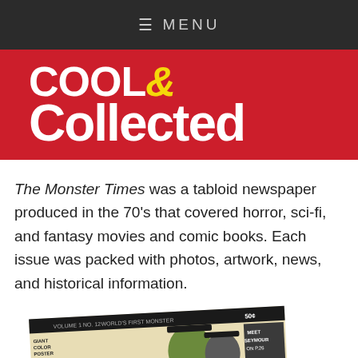≡ MENU
[Figure (logo): Cool & Collected website logo — white bold text on red background]
The Monster Times was a tabloid newspaper produced in the 70's that covered horror, sci-fi, and fantasy movies and comic books. Each issue was packed with photos, artwork, news, and historical information.
[Figure (photo): Photo of The Monster Times tabloid newspaper cover, showing a vintage monster-themed newspaper with 'the Monster' text in large yellow letters on the cover, price 50¢, with figures in hats visible on the cover.]